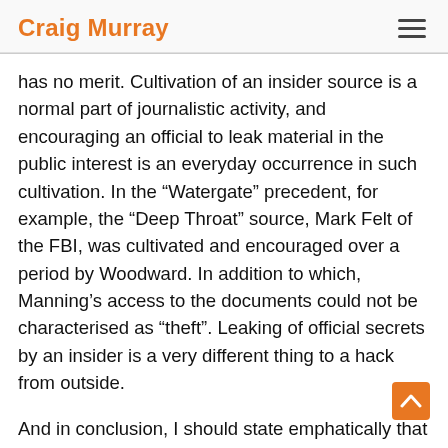Craig Murray
has no merit. Cultivation of an insider source is a normal part of journalistic activity, and encouraging an official to leak material in the public interest is an everyday occurrence in such cultivation. In the “Watergate” precedent, for example, the “Deep Throat” source, Mark Felt of the FBI, was cultivated and encouraged over a period by Woodward. In addition to which, Manning’s access to the documents could not be characterised as “theft”. Leaking of official secrets by an insider is a very different thing to a hack from outside.
And in conclusion, I should state emphatically that while Judge Koeltl was obliged to accept for the time being the allegation that the Russians had hacked the DNC as alleged, in fact this never happened. The emails came